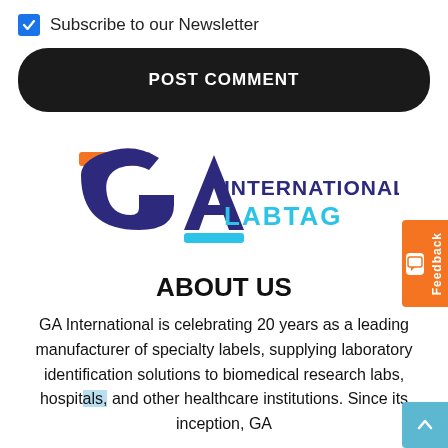Subscribe to our Newsletter
POST COMMENT
[Figure (logo): GA International Labtag logo with orange and blue accents on dark blue letters]
ABOUT US
GA International is celebrating 20 years as a leading manufacturer of specialty labels, supplying laboratory identification solutions to biomedical research labs, hospitals, and other healthcare institutions. Since its inception, GA